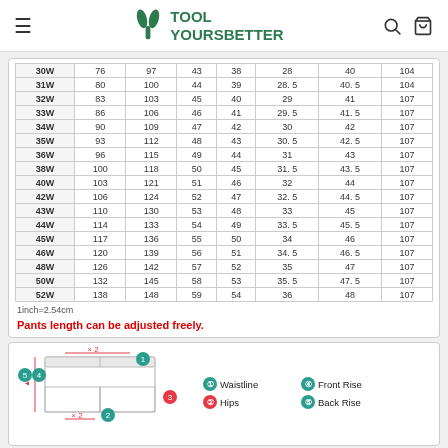TOOL YOURSBETTER
| Size | col1 | col2 | col3 | col4 | col5 | col6 | col7 |
| --- | --- | --- | --- | --- | --- | --- | --- |
| 31W | 80 | 100 | 44 | 39 | 28.5 | 40.5 | 104 |
| 32W | 83 | 103 | 45 | 40 | 29 | 41 | 107 |
| 33W | 86 | 106 | 46 | 41 | 29.5 | 41.5 | 107 |
| 34W | 90 | 109 | 47 | 42 | 30 | 42 | 107 |
| 35W | 93 | 112 | 48 | 43 | 30.5 | 42.5 | 107 |
| 36W | 96 | 115 | 49 | 44 | 31 | 43 | 107 |
| 38W | 100 | 118 | 50 | 45 | 31.5 | 43.5 | 107 |
| 40W | 103 | 121 | 51 | 46 | 32 | 44 | 107 |
| 42W | 106 | 124 | 52 | 47 | 32.5 | 44.5 | 107 |
| 43W | 110 | 130 | 53 | 48 | 33 | 45 | 107 |
| 44W | 114 | 133 | 54 | 49 | 33.5 | 45.5 | 107 |
| 45W | 117 | 136 | 55 | 50 | 34 | 46 | 107 |
| 46W | 120 | 139 | 56 | 51 | 34.5 | 46.5 | 107 |
| 48W | 126 | 142 | 57 | 52 | 35 | 47 | 107 |
| 50W | 132 | 145 | 58 | 53 | 35.5 | 47.5 | 107 |
| 52W | 138 | 148 | 59 | 54 | 36 | 48 | 107 |
1inch=2.54cm
Pants length can be adjusted freely.
[Figure (illustration): Pants measurement diagram showing waistline (x2), hips, front rise, and back rise measurement annotations with numbered circles]
① Waistline   ④ Front Rise
② Hips        ⑤ Back Rise